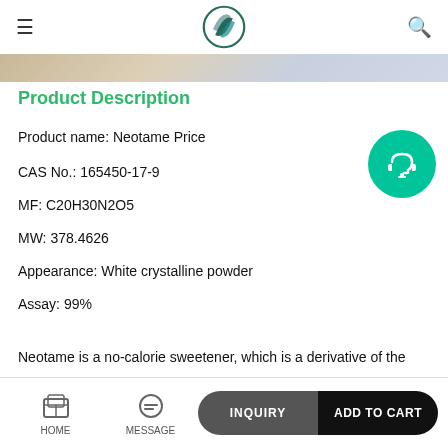SS logo, hamburger menu, search icon
[Figure (photo): Product image strip showing food/powder on a plate with purple-beige background]
Product Description
Product name: Neotame Price
CAS No.: 165450-17-9
MF: C20H30N2O5
MW: 378.4626
Appearance: White crystalline powder
Assay: 99%
Neotame is a no-calorie sweetener, which is a derivative of the
HOME | MESSAGE | INQUIRY | ADD TO CART